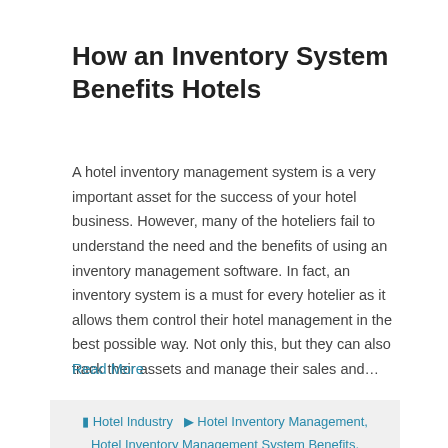How an Inventory System Benefits Hotels
A hotel inventory management system is a very important asset for the success of your hotel business. However, many of the hoteliers fail to understand the need and the benefits of using an inventory management software. In fact, an inventory system is a must for every hotelier as it allows them control their hotel management in the best possible way. Not only this, but they can also track their assets and manage their sales and…
Read More
Hotel Industry  Hotel Inventory Management, Hotel Inventory Management System Benefits, Inventory Management